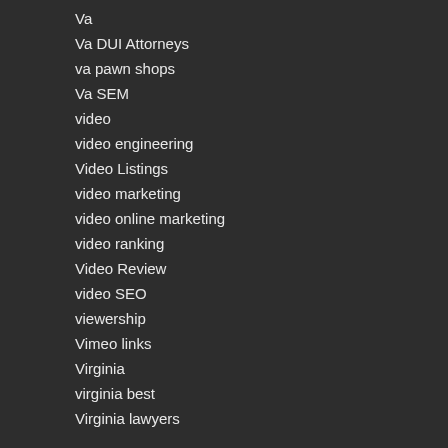Va
Va DUI Attorneys
va pawn shops
Va SEM
video
video engineering
Video Listings
video marketing
video online marketing
video ranking
Video Review
video SEO
viewership
Vimeo links
Virginia
virginia best
Virginia lawyers